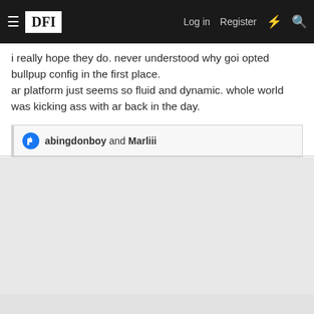DFI — Log in  Register
i really hope they do. never understood why goi opted bullpup config in the first place.
ar platform just seems so fluid and dynamic. whole world was kicking ass with ar back in the day.
abingdonboy and Marliii